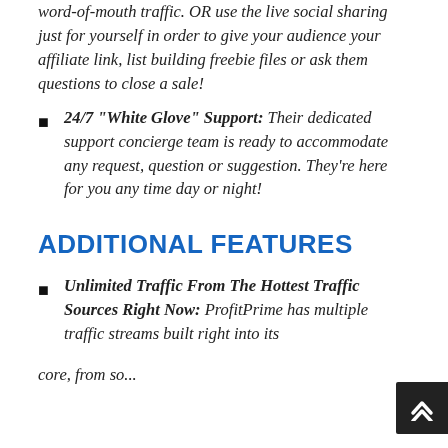word-of-mouth traffic. OR use the live social sharing just for yourself in order to give your audience your affiliate link, list building freebie files or ask them questions to close a sale!
24/7 "White Glove" Support: Their dedicated support concierge team is ready to accommodate any request, question or suggestion. They're here for you any time day or night!
ADDITIONAL FEATURES
Unlimited Traffic From The Hottest Traffic Sources Right Now: ProfitPrime has multiple traffic streams built right into its core, from soo...